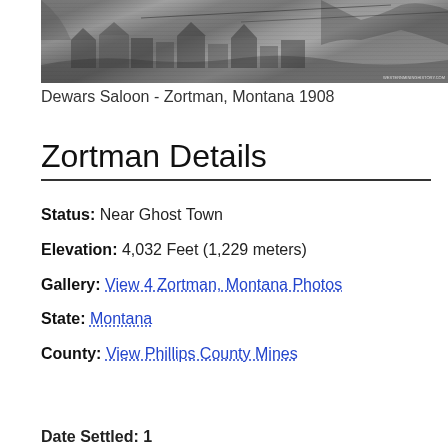[Figure (photo): Black and white historical photograph of Dewars Saloon in Zortman, Montana, 1908, showing buildings and mining town landscape]
Dewars Saloon - Zortman, Montana 1908
Zortman Details
Status: Near Ghost Town
Elevation: 4,032 Feet (1,229 meters)
Gallery: View 4 Zortman, Montana Photos
State: Montana
County: View Phillips County Mines
Date Settled: 1 1 9 2